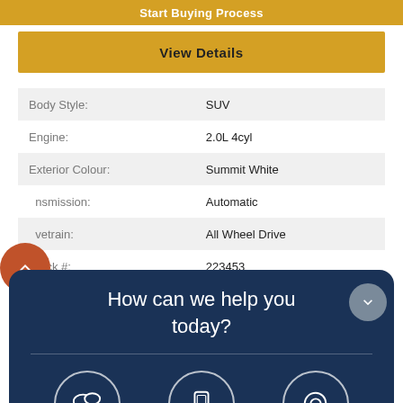Start Buying Process
View Details
| Label | Value |
| --- | --- |
| Body Style: | SUV |
| Engine: | 2.0L 4cyl |
| Exterior Colour: | Summit White |
| Transmission: | Automatic |
| Drivetrain: | All Wheel Drive |
| Stock #: | 223453 |
| City: | Yorkton |
Key... 268
Sunroof, N... eather Seats, Hea... Aluminum Wheels, Re... rPlay, Lane Chan...
How can we help you today?
[Figure (infographic): Chat overlay with three contact options: Chat, Text, Email, each with circular icons on dark navy background]